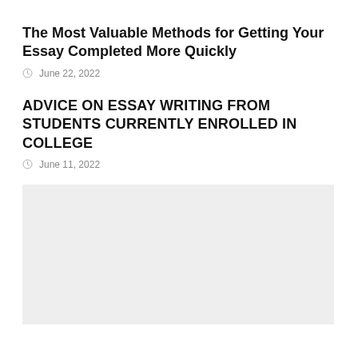The Most Valuable Methods for Getting Your Essay Completed More Quickly
June 22, 2022
ADVICE ON ESSAY WRITING FROM STUDENTS CURRENTLY ENROLLED IN COLLEGE
June 11, 2022
[Figure (photo): Light gray placeholder image block]